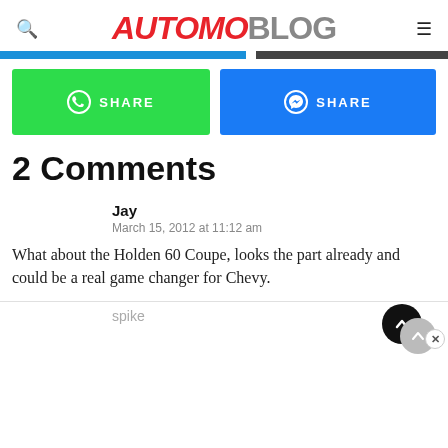AUTOMOBLOG
[Figure (screenshot): Two share buttons: green WhatsApp SHARE and blue Messenger SHARE]
2 Comments
Jay
March 15, 2012 at 11:12 am
What about the Holden 60 Coupe, looks the part already and could be a real game changer for Chevy.
spike